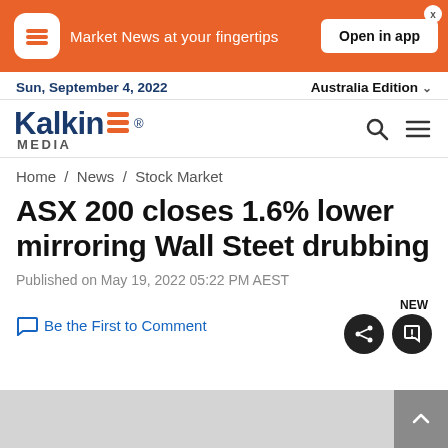[Figure (screenshot): Orange ad banner for Kalkine app with logo icon, text 'Market News at your fingertips', and 'Open in app' button]
Sun, September 4, 2022   Australia Edition
[Figure (logo): Kalkine Media logo in navy blue with orange hamburger icon]
Home / News / Stock Market
ASX 200 closes 1.6% lower mirroring Wall Steet drubbing
Published on May 19, 2022 05:22 PM AEST
Be the First to Comment